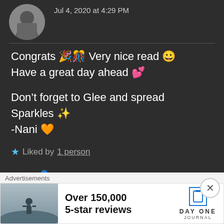Jul 4, 2020 at 4:29 PM
Congrats 🎉🎊 Very nice read 😀 Have a great day ahead 💕
Don't forget to Glee and spread Sparkles ✨
-Nani 🧡
★ Liked by 1 person
THE BOLD GIRL says:Reply
Jul 5, 2020 at 11:19 PM
Advertisements
Over 150,000 5-star reviews  DAYONE JOURNAL